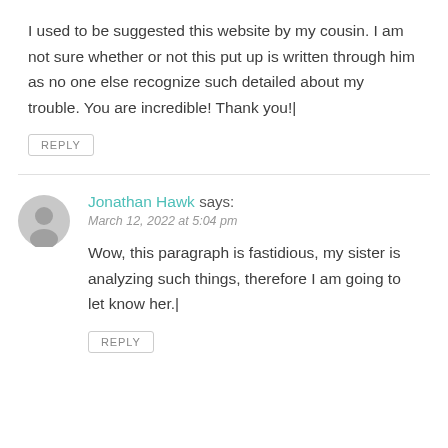I used to be suggested this website by my cousin. I am not sure whether or not this put up is written through him as no one else recognize such detailed about my trouble. You are incredible! Thank you!|
REPLY
Jonathan Hawk says:
March 12, 2022 at 5:04 pm
Wow, this paragraph is fastidious, my sister is analyzing such things, therefore I am going to let know her.|
REPLY